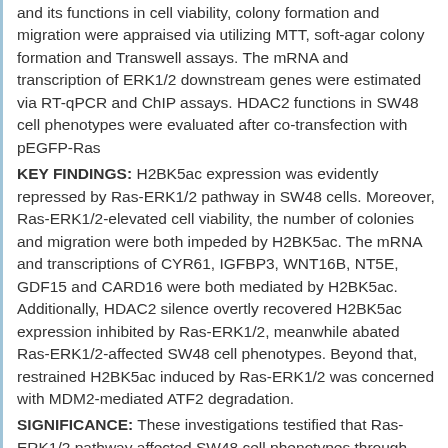and its functions in cell viability, colony formation and migration were appraised via utilizing MTT, soft-agar colony formation and Transwell assays. The mRNA and transcription of ERK1/2 downstream genes were estimated via RT-qPCR and ChIP assays. HDAC2 functions in SW48 cell phenotypes were evaluated after co-transfection with pEGFP-Ras
KEY FINDINGS: H2BK5ac expression was evidently repressed by Ras-ERK1/2 pathway in SW48 cells. Moreover, Ras-ERK1/2-elevated cell viability, the number of colonies and migration were both impeded by H2BK5ac. The mRNA and transcriptions of CYR61, IGFBP3, WNT16B, NT5E, GDF15 and CARD16 were both mediated by H2BK5ac. Additionally, HDAC2 silence overtly recovered H2BK5ac expression inhibited by Ras-ERK1/2, meanwhile abated Ras-ERK1/2-affected SW48 cell phenotypes. Beyond that, restrained H2BK5ac induced by Ras-ERK1/2 was concerned with MDM2-mediated ATF2 degradation.
SIGNIFICANCE: These investigations testified that Ras-ERK1/2 pathway affected SW48 cell phenotypes through repressing H2BK5ac expression. Otherwise, declined H2BK5ac might be linked to MDM2-mediated ATF2